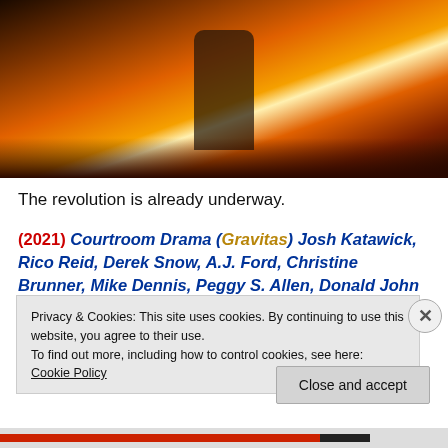[Figure (photo): Dark dramatic scene with fire/flames in background, silhouette of person, action movie still]
The revolution is already underway.
(2021) Courtroom Drama (Gravitas) Josh Katawick, Rico Reid, Derek Snow, A.J. Ford, Christine Brunner, Mike Dennis, Peggy S. Allen, Donald John Volpenhein, Denise Del Vera, Christine Jones, Moulay Essakalli, Rajiim A. Gross, Paul Morris, Carol Brammer. Directed
Privacy & Cookies: This site uses cookies. By continuing to use this website, you agree to their use.
To find out more, including how to control cookies, see here: Cookie Policy
Close and accept